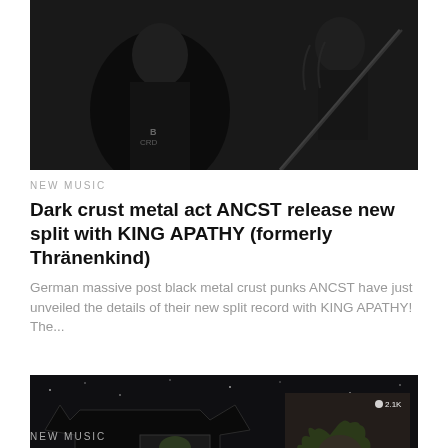[Figure (photo): Black and white photo of musicians performing on stage, one with long hair and one playing guitar]
NEW MUSIC
Dark crust metal act ANCST release new split with KING APATHY (formerly Thränenkind)
German massive post black metal crust punks ANCST have just unveiled the details of their new split record with KING APATHY! The...
[Figure (photo): Black and white image of a black t-shirt with ANCST logo and album artwork, alongside other merchandise images]
NEW MUSIC